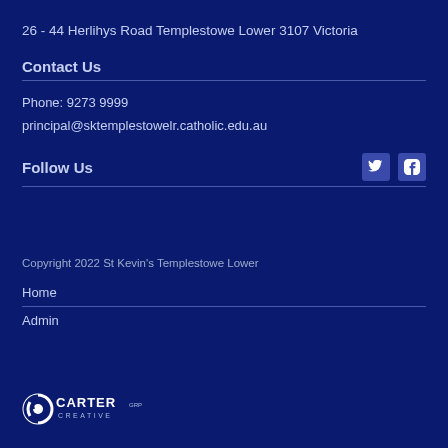26 - 44 Herlihys Road Templestowe Lower 3107 Victoria
Contact Us
Phone: 9273 9999
principal@sktemplestowelr.catholic.edu.au
Follow Us
Copyright 2022 St Kevin's Templestowe Lower
Home
Admin
[Figure (logo): Carter Creative logo — stylized C icon with CARTER CREATIVE text]